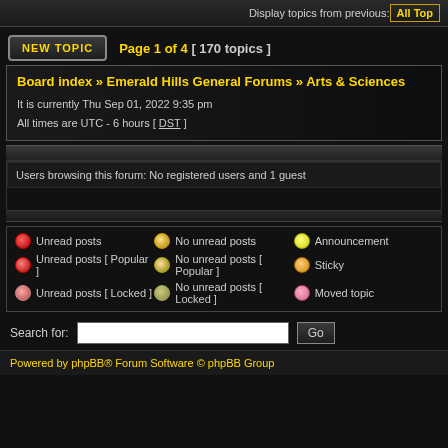award question | Display topics from previous: All Top
Page 1 of 4  [ 170 topics ]
Board index » Emerald Hills General Forums » Arts & Sciences
It is currently Thu Sep 01, 2022 9:35 pm
All times are UTC - 6 hours [ DST ]
Users browsing this forum: No registered users and 1 guest
Unread posts
No unread posts
Announcement
Unread posts [ Popular ]
No unread posts [ Popular ]
Sticky
Unread posts [ Locked ]
No unread posts [ Locked ]
Moved topic
Search for:
Powered by phpBB® Forum Software © phpBB Group